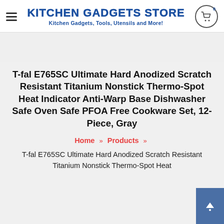KITCHEN GADGETS STORE — Kitchen Gadgets, Tools, Utensils and More!
T-fal E765SC Ultimate Hard Anodized Scratch Resistant Titanium Nonstick Thermo-Spot Heat Indicator Anti-Warp Base Dishwasher Safe Oven Safe PFOA Free Cookware Set, 12-Piece, Gray
Home » Products »
T-fal E765SC Ultimate Hard Anodized Scratch Resistant Titanium Nonstick Thermo-Spot Heat